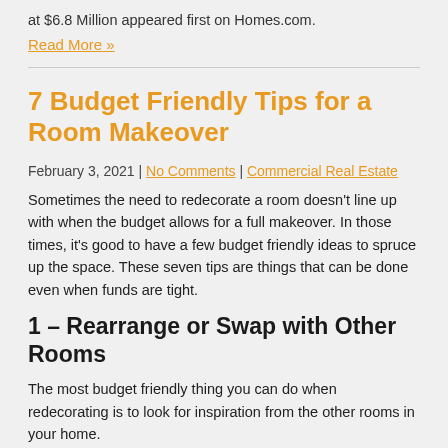at $6.8 Million appeared first on Homes.com.
Read More »
7 Budget Friendly Tips for a Room Makeover
February 3, 2021 | No Comments | Commercial Real Estate
Sometimes the need to redecorate a room doesn't line up with when the budget allows for a full makeover. In those times, it's good to have a few budget friendly ideas to spruce up the space. These seven tips are things that can be done even when funds are tight.
1 – Rearrange or Swap with Other Rooms
The most budget friendly thing you can do when redecorating is to look for inspiration from the other rooms in your home.